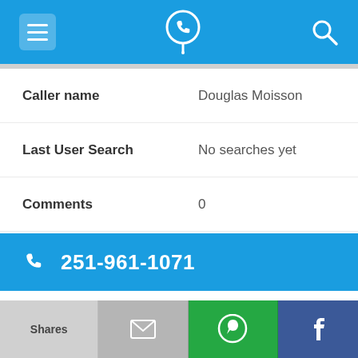[Figure (screenshot): Mobile app top navigation bar with hamburger menu icon on left, phone-with-location-pin icon in center, and search icon on right, all on blue background]
Caller name	Douglas Moisson
Last User Search	No searches yet
Comments	0
251-961-1071
Alternate Form	2519611071
Caller name	James B. Fletcher
[Figure (screenshot): Bottom action bar with Shares button, email icon button, WhatsApp icon button, and Facebook icon button]